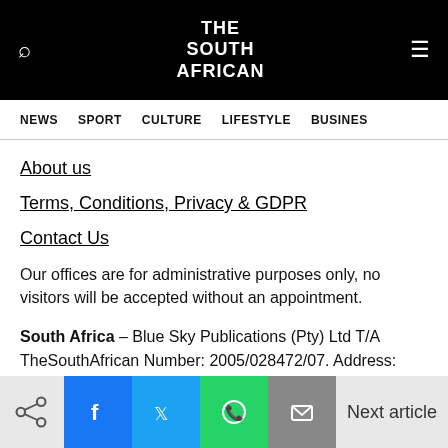THE SOUTH AFRICAN
NEWS  SPORT  CULTURE  LIFESTYLE  BUSINESS
About us
Terms, Conditions, Privacy & GDPR
Contact Us
Our offices are for administrative purposes only, no visitors will be accepted without an appointment.
South Africa – Blue Sky Publications (Pty) Ltd T/A TheSouthAfrican Number: 2005/028472/07. Address: Regus Business Centre 1st Floor, Block B, North Park, Black River
Next article